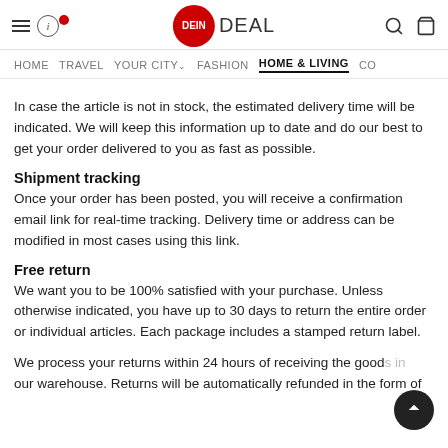DEIN DEAL — HOME | TRAVEL | YOUR CITY | FASHION | HOME & LIVING | CO
In case the article is not in stock, the estimated delivery time will be indicated. We will keep this information up to date and do our best to get your order delivered to you as fast as possible.
Shipment tracking
Once your order has been posted, you will receive a confirmation email link for real-time tracking. Delivery time or address can be modified in most cases using this link.
Free return
We want you to be 100% satisfied with your purchase. Unless otherwise indicated, you have up to 30 days to return the entire order or individual articles. Each package includes a stamped return label.
We process your returns within 24 hours of receiving the goods in our warehouse. Returns will be automatically refunded in the form of